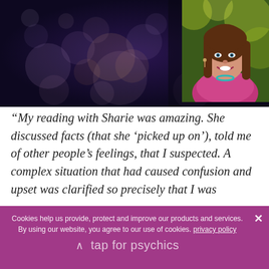[Figure (photo): Dark bokeh background photo with a portrait of a smiling woman with long brown hair wearing a pink/magenta top and teal necklace, overlaid in top-right corner]
“My reading with Sharie was amazing. She discussed facts (that she ‘picked up on’), told me of other people’s feelings, that I suspected. A complex situation that had caused confusion and upset was clarified so precisely that I was
Cookies help us provide, protect and improve our products and services. By using our website, you agree to our use of cookies. privacy policy
tap for psychics